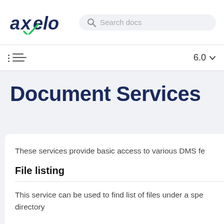axelo  Search docs  6.0
Document Services
These services provide basic access to various DMS fe
File listing
This service can be used to find list of files under a spe directory